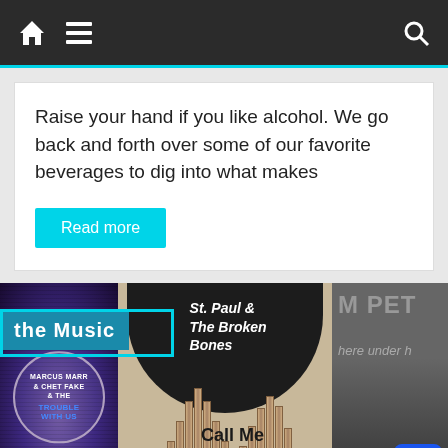Navigation bar with home icon, hamburger menu, and search icon
Raise your hand if you like alcohol. We go back and forth over some of our favorite beverages to dig into what makes
Read more
[Figure (photo): Music album covers strip showing: Marcus Marr & Chet Faker - The Trouble With Us album (blue circular vinyl design), St. Paul & The Broken Bones - Call Me album (organ pipes on kraft background with black semicircle), and a partially visible third album. An overlay badge reads 'the Music' in teal/cyan.]